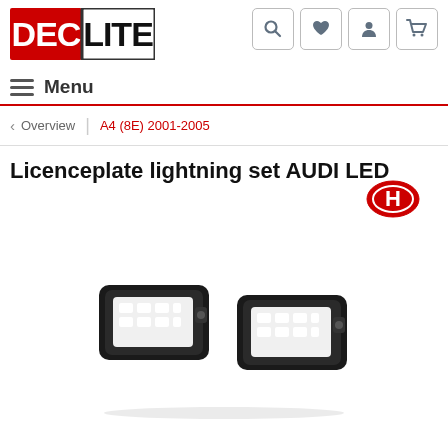[Figure (logo): DEC LITE logo — DEC in red box with white letters, LITE in black box with white letters]
[Figure (screenshot): Navigation bar with hamburger menu icon and Menu text on left, search/heart/person/cart icons on right]
< Overview | A4 (8E) 2001-2005
Licenceplate lightning set AUDI LED
[Figure (logo): H brand logo — red oval with H letter in center]
[Figure (photo): Two LED license plate light units with black housing and white LED strips inside]